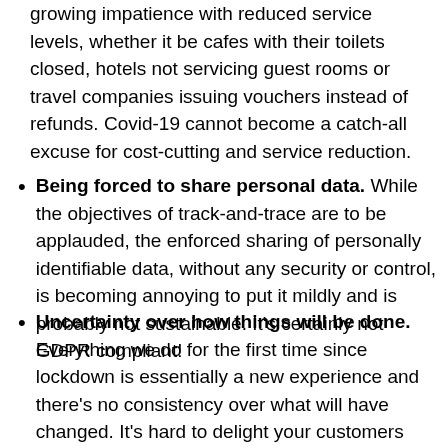growing impatience with reduced service levels, whether it be cafes with their toilets closed, hotels not servicing guest rooms or travel companies issuing vouchers instead of refunds. Covid-19 cannot become a catch-all excuse for cost-cutting and service reduction.
Being forced to share personal data. While the objectives of track-and-trace are to be applauded, the enforced sharing of personally identifiable data, without any security or control, is becoming annoying to put it mildly and is probably not sustainable. It's certainly not GDPR compliant!
Uncertainty over how things will be done. Everything we do for the first time since lockdown is essentially a new experience and there's no consistency over what will have changed. It's hard to delight your customers when they don't know